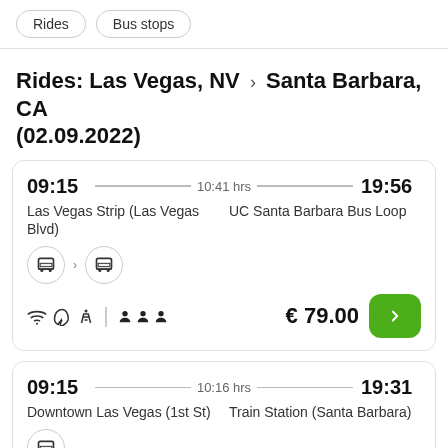Rides  Bus stops
Rides: Las Vegas, NV › Santa Barbara, CA (02.09.2022)
09:15 — 10:41 hrs — 19:56
Las Vegas Strip (Las Vegas Blvd)	UC Santa Barbara Bus Loop
€ 79.00
09:15 — 10:16 hrs — 19:31
Downtown Las Vegas (1st St)	Train Station (Santa Barbara)